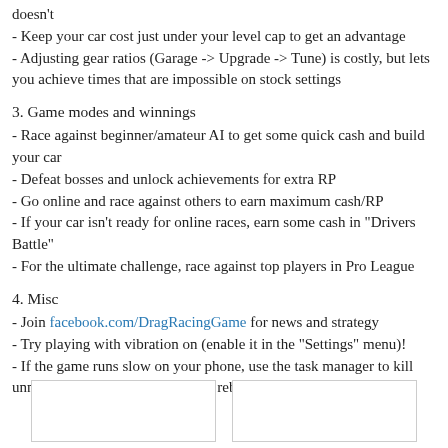doesn't
- Keep your car cost just under your level cap to get an advantage
- Adjusting gear ratios (Garage -> Upgrade -> Tune) is costly, but lets you achieve times that are impossible on stock settings
3. Game modes and winnings
- Race against beginner/amateur AI to get some quick cash and build your car
- Defeat bosses and unlock achievements for extra RP
- Go online and race against others to earn maximum cash/RP
- If your car isn't ready for online races, earn some cash in "Drivers Battle"
- For the ultimate challenge, race against top players in Pro League
4. Misc
- Join facebook.com/DragRacingGame for news and strategy
- Try playing with vibration on (enable it in the "Settings" menu)!
- If the game runs slow on your phone, use the task manager to kill unnecessary background tasks, or reboot the device
[Figure (other): Two blank white image boxes side by side at the bottom of the page]